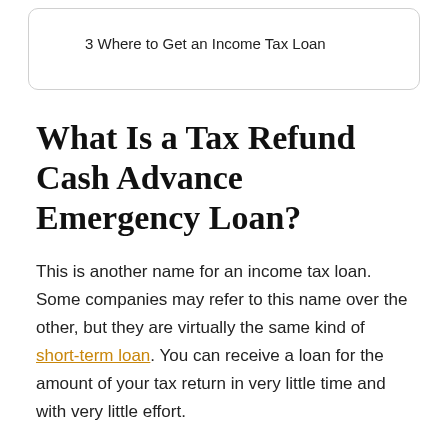3 Where to Get an Income Tax Loan
What Is a Tax Refund Cash Advance Emergency Loan?
This is another name for an income tax loan. Some companies may refer to this name over the other, but they are virtually the same kind of short-term loan. You can receive a loan for the amount of your tax return in very little time and with very little effort.